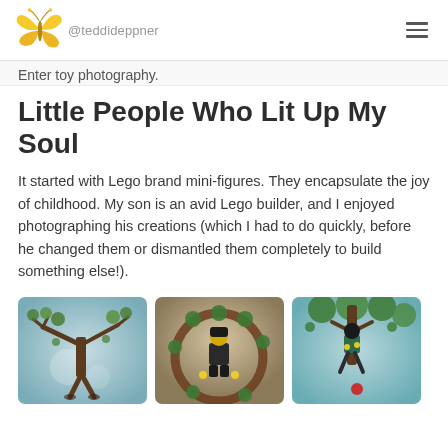@teddideppner
Enter toy photography.
Little People Who Lit Up My Soul
It started with Lego brand mini-figures. They encapsulate the joy of childhood. My son is an avid Lego builder, and I enjoyed photographing his creations (which I had to do quickly, before he changed them or dismantled them completely to build something else!).
[Figure (photo): Lego creature figure with arms outstretched, resembling a tree-like being, photographed against a blurred teal/blue background]
[Figure (photo): Close-up of a Lego minifigure with green circular elements and brown curved pieces, against a blurred background]
[Figure (photo): Lego figure hanging or suspended among green tree-like elements against a teal background]